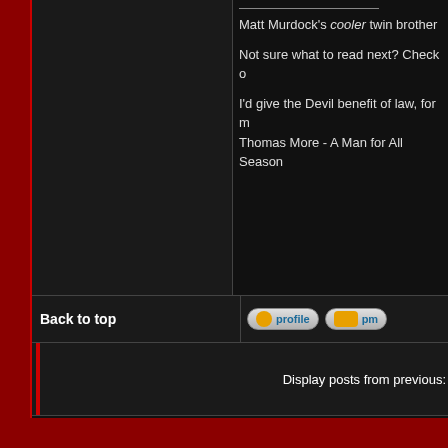Matt Murdock's cooler twin brother
Not sure what to read next? Check o
I'd give the Devil benefit of law, for my own safety's sake! - Thomas More - A Man for All Seasons
Back to top
[Figure (screenshot): Profile button with person icon and blue 'profile' text]
[Figure (screenshot): PM button with persons icon and blue 'pm' text]
Display posts from previous:
[Figure (screenshot): New topic button]
[Figure (screenshot): Post reply button]
Daredevil Message Board Forum I
Page 1 of 1
Powered by